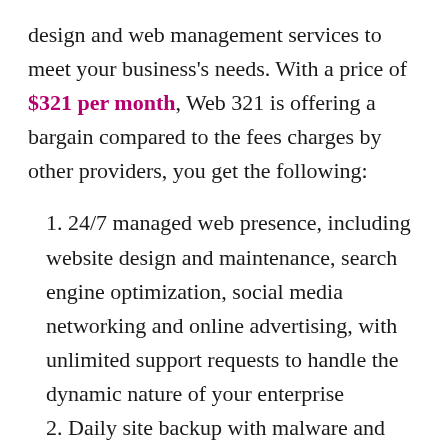design and web management services to meet your business's needs. With a price of $321 per month, Web 321 is offering a bargain compared to the fees charges by other providers, you get the following:
1. 24/7 managed web presence, including website design and maintenance, search engine optimization, social media networking and online advertising, with unlimited support requests to handle the dynamic nature of your enterprise
2. Daily site backup with malware and virus protection and real time site monitoring to address whatever problems